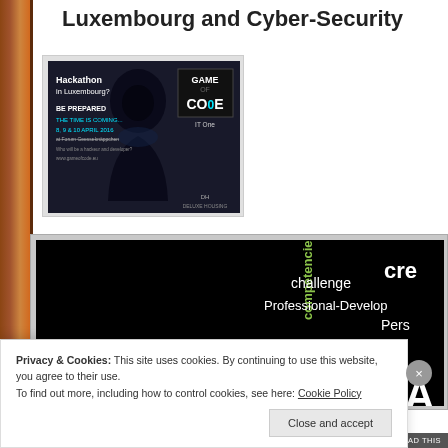Luxembourg and Cyber-Security
[Figure (screenshot): Hackathon in Luxembourg advertisement showing Game of Code event with hooded figure, IT One and Deluxe Housing branding, dates 8, 9 & 10 April 2016 at Forum Geesseknäppchen]
[Figure (screenshot): Word cloud on black background showing terms: competencies, challenge, cre(ativity), Professional-Development, Pers(onal), Digital-Citizenship, PLN, SHA]
Privacy & Cookies: This site uses cookies. By continuing to use this website, you agree to their use.
To find out more, including how to control cookies, see here: Cookie Policy
Close and accept